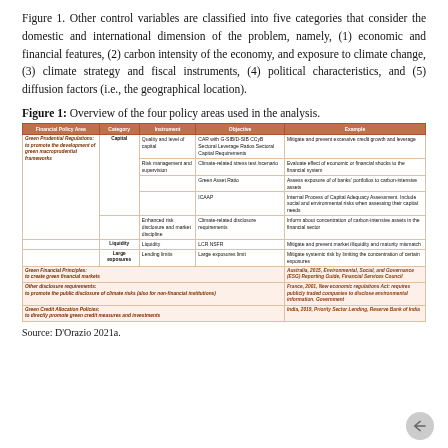Figure 1. Other control variables are classified into five categories that consider the domestic and international dimension of the problem, namely, (1) economic and financial features, (2) carbon intensity of the economy, and exposure to climate change, (3) climate strategy and fiscal instruments, (4) political characteristics, and (5) diffusion factors (i.e., the geographical location).
Figure 1: Overview of the four policy areas used in the analysis.
| Financial Policy Area | Category | Instrument | Objective | Example |
| --- | --- | --- | --- | --- |
| Green Prudential Regulations: to promote the development of green macroprudential frameworks | Capital | Quality and level of capital | CAR with G-SIB/D-SIB CCyB Sectoral Leverage Ratios Sectoral Capital Requirements | Mitigate and prevent excessive credit growth and leverage |  |
|  |  | Risk management and supervision | Climate-related stress test/scenario | Evaluate effect of economic or financial shocks to the financial system | UK, 2019, General Insurance Stress Tests (GIST) Cover Natural Catastrophe Scenarios and Climate Change Risks. Largest banks and insurers, Prudential Regulatory Authority |
|  |  |  | Green Asset Ratio | Assess exposure of of banks' portfolios to carbon-intensive assets |  |
|  |  |  | ICAAP | Internal Process of Capital Adequacy Assessment. Include social and environmental risks when assessing their capital needs | Brazil, 2011, Circular No. 3,547/2011, Banco Central do Brasil |
|  |  | Enhanced risk disclosure and market discipline | Climate-related disclosure requirements | Inform about concentration of carbon-intensive assets in the financial sector | China, 2013, China's Green Credit Statistics System, China Banking Regulatory Commission (CBRC) |
|  | Liquidity | Liquidity | LCR NSFR | Mitigate and prevent market illiquidity and maturity mismatch |  |
|  | Large exposures | Lending limits | Large exposures limit | Mitigate systemic risk by limiting the concentration of certain exposures | Australia, 2015, Environmental, Social, and Governance (ESG) Reporting Guide, Financial Services Council |
| Green Financial Principles: to create green financial markets |  |  |  |  |  |
| Other disclosure requirements: to promote the public disclosure of climate risks (also for non-financial institutions) |  |  |  |  | France, 2001, New economic regulations Act: requires publicly traded companies to disclose environmental information. Government |
| Green Credit Allocation Policies: to directly promote green credit measures and investments |  |  |  |  | India, 2019, Priority Sector Lending, Reserve Bank of India |
Source: D'Orazio 2021a.